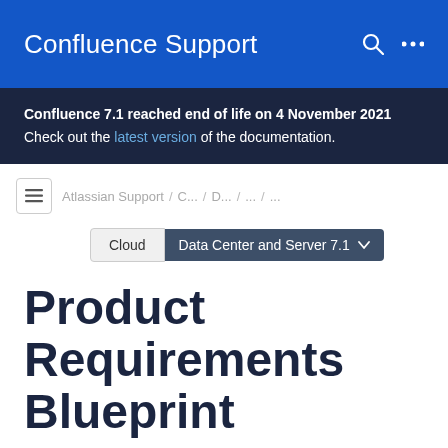Confluence Support
Confluence 7.1 reached end of life on 4 November 2021
Check out the latest version of the documentation.
Atlassian Support / C... / D... / ... / ...
Cloud  Data Center and Server 7.1
Product Requirements Blueprint
The Product Requirements blueprint helps you to